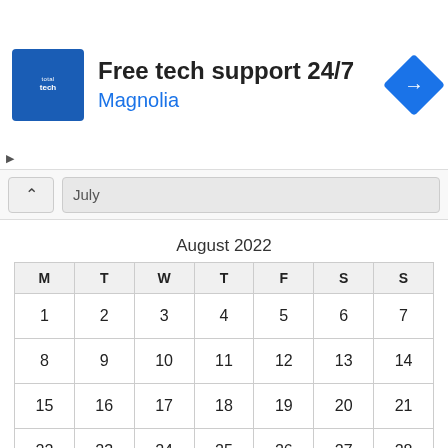[Figure (other): Advertisement banner for 'Free tech support 24/7' by Magnolia, with a blue logo on left and navigation icon on right]
Free tech support 24/7
Magnolia
August 2022
| M | T | W | T | F | S | S |
| --- | --- | --- | --- | --- | --- | --- |
| 1 | 2 | 3 | 4 | 5 | 6 | 7 |
| 8 | 9 | 10 | 11 | 12 | 13 | 14 |
| 15 | 16 | 17 | 18 | 19 | 20 | 21 |
| 22 | 23 | 24 | 25 | 26 | 27 | 28 |
| 29 | 30 | 31 |  |  |  |  |
« Apr